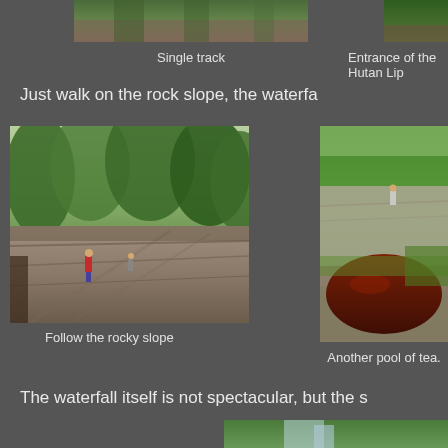[Figure (photo): Partial view of single track trail through forest, top of page cropped]
Single track
[Figure (photo): Partial view of entrance of Hutan Lipur, top right, cropped]
Entrance of the Hutan Lip
Just walk on the rock slope, the waterfa
[Figure (photo): Hikers walking along a wide rocky slope through jungle forest]
Follow the rocky slope
[Figure (photo): A red tea-colored pool surrounded by rocks and tropical vegetation, person standing on rock]
Another pool of tea.
The waterfall itself is not spectacular, but the s
[Figure (photo): Partial view of waterfall or stream scene at bottom of page]